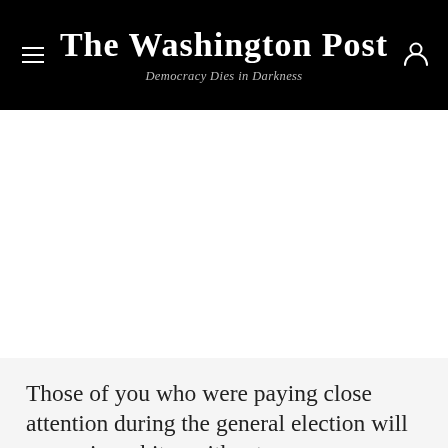The Washington Post
Democracy Dies in Darkness
Those of you who were paying close attention during the general election will recognize whites without